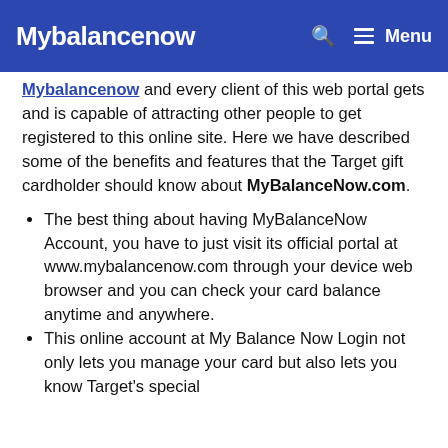Mybalancenow   🔍   ☰ Menu
Mybalancenow and every client of this web portal gets and is capable of attracting other people to get registered to this online site. Here we have described some of the benefits and features that the Target gift cardholder should know about MyBalanceNow.com.
The best thing about having MyBalanceNow Account, you have to just visit its official portal at www.mybalancenow.com through your device web browser and you can check your card balance anytime and anywhere.
This online account at My Balance Now Login not only lets you manage your card but also lets you know Target's special